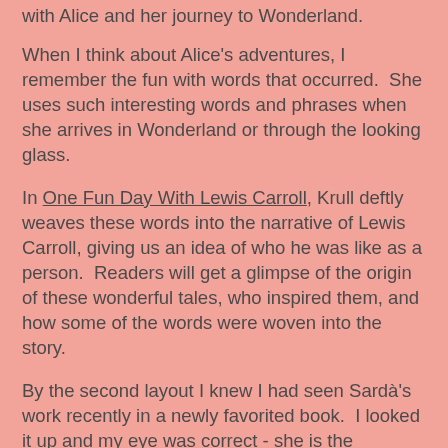with Alice and her journey to Wonderland.
When I think about Alice's adventures, I remember the fun with words that occurred.  She uses such interesting words and phrases when she arrives in Wonderland or through the looking glass.
In One Fun Day With Lewis Carroll, Krull deftly weaves these words into the narrative of Lewis Carroll, giving us an idea of who he was like as a person.  Readers will get a glimpse of the origin of these wonderful tales, who inspired them, and how some of the words were woven into the story.
By the second layout I knew I had seen Sardà's work recently in a newly favorited book.  I looked it up and my eye was correct - she is the illustrator of Natalie Lloyd's The Problim Children.  Her whimsical and colorful work go along perfectly with Krull's narrative.
A few additional parts stood out to me in this book - the endpages and backmatter.  On the endpages, there is a rolling list of words and phrases that most likely originated